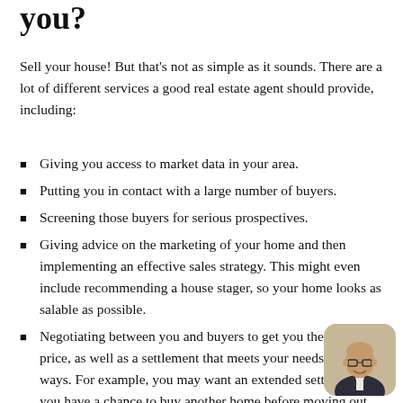you?
Sell your house! But that's not as simple as it sounds. There are a lot of different services a good real estate agent should provide, including:
Giving you access to market data in your area.
Putting you in contact with a large number of buyers.
Screening those buyers for serious prospectives.
Giving advice on the marketing of your home and then implementing an effective sales strategy. This might even include recommending a house stager, so your home looks as salable as possible.
Negotiating between you and buyers to get you the best sale price, as well as a settlement that meets your needs in other ways. For example, you may want an extended settlement so you have a chance to buy another home before moving out.
[Figure (photo): Headshot of a bald man with glasses, smiling, in a dark suit, shown in a rounded rectangle thumbnail.]